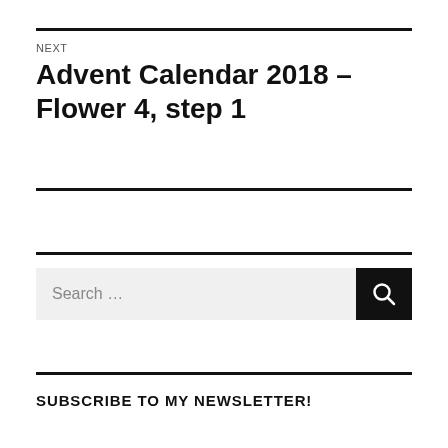NEXT
Advent Calendar 2018 – Flower 4, step 1
SUBSCRIBE TO MY NEWSLETTER!